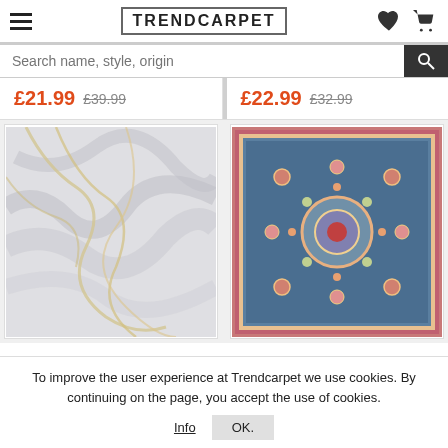TRENDCARPET
Search name, style, origin
£21.99 £39.99
£22.99 £32.99
[Figure (photo): Light grey marble-effect rug with gold veining]
[Figure (photo): Traditional Persian-style rug with blue, pink, and red floral pattern]
To improve the user experience at Trendcarpet we use cookies. By continuing on the page, you accept the use of cookies.